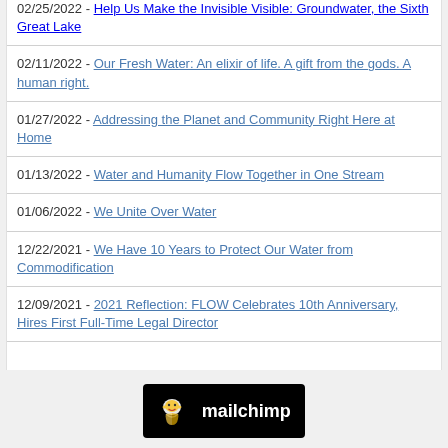02/25/2022 - Help Us Make the Invisible Visible: Groundwater, the Sixth Great Lake
02/11/2022 - Our Fresh Water: An elixir of life. A gift from the gods. A human right.
01/27/2022 - Addressing the Planet and Community Right Here at Home
01/13/2022 - Water and Humanity Flow Together in One Stream
01/06/2022 - We Unite Over Water
12/22/2021 - We Have 10 Years to Protect Our Water from Commodification
12/09/2021 - 2021 Reflection: FLOW Celebrates 10th Anniversary, Hires First Full-Time Legal Director
[Figure (logo): Mailchimp logo badge with monkey icon and wordmark on black background]